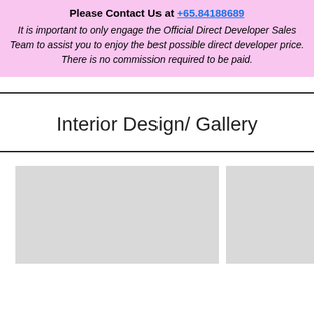Please Contact Us at +65.84188689 It is important to only engage the Official Direct Developer Sales Team to assist you to enjoy the best possible direct developer price. There is no commission required to be paid.
Interior Design/ Gallery
[Figure (photo): Two placeholder image boxes representing interior design gallery thumbnails, shown in light grey.]